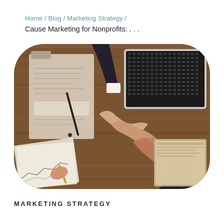Home / Blog / Marketing Strategy / Cause Marketing for Nonprofits: …
[Figure (photo): Overhead view of two people shaking hands across a wooden desk with papers, a clipboard, a laptop, and documents scattered around.]
MARKETING STRATEGY